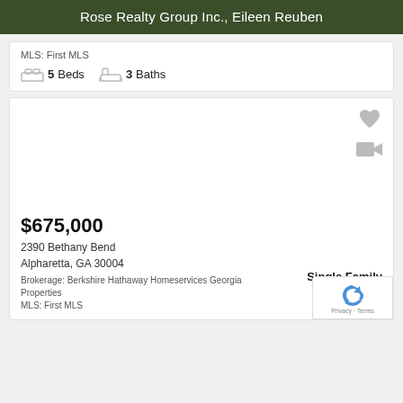Rose Realty Group Inc., Eileen Reuben
MLS: First MLS
5 Beds  3 Baths
[Figure (other): Property listing image area (blank/loading), with heart favorite icon and video camera icon in top right corner]
$675,000
2390 Bethany Bend
Alpharetta, GA 30004
Brokerage: Berkshire Hathaway Homeservices Georgia Properties
MLS: First MLS
Single Family
For Sale